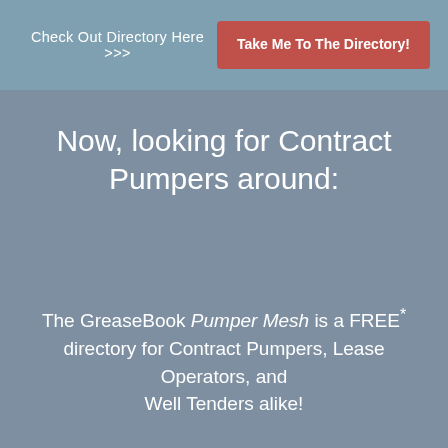Check Out Directory Here >>>
Take Me To The Directory!
Now, looking for Contract Pumpers around:
The GreaseBook Pumper Mesh is a FREE* directory for Contract Pumpers, Lease Operators, and Well Tenders alike!